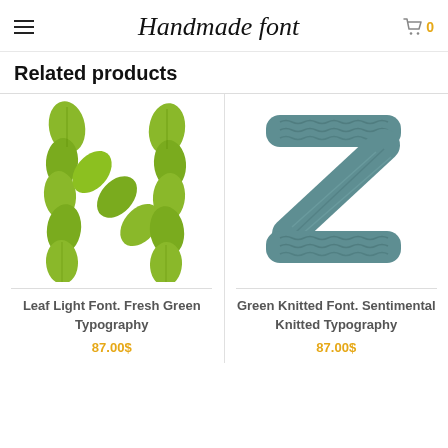Handmade font
Related products
[Figure (illustration): Letter N formed from green leaves on white background]
Leaf Light Font. Fresh Green Typography
87.00$
[Figure (illustration): Letter Z formed from green knitted yarn on white background]
Green Knitted Font. Sentimental Knitted Typography
87.00$